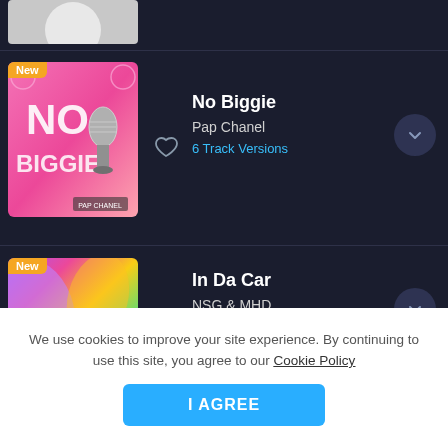[Figure (screenshot): Partial album art of a person in white at the top]
[Figure (screenshot): No Biggie album art – pink background with microphone and large text NO BIGGIE]
No Biggie
Pap Chanel
6 Track Versions
[Figure (screenshot): In Da Car album art – colorful swirling abstract background]
In Da Car
NSG & MHD
6 Track Versions
We use cookies to improve your site experience. By continuing to use this site, you agree to our Cookie Policy
I AGREE